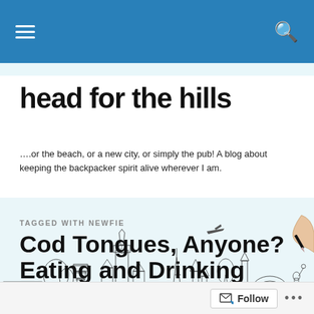Navigation bar with hamburger menu and search icon
head for the hills
….or the beach, or a new city, or simply the pub! A blog about keeping the backpacker spirit alive wherever I am.
[Figure (illustration): Pencil sketch illustration of famous world landmarks skyline including Sydney Opera House, Big Ben, Eiffel Tower, Colosseum, and other monuments, with a hand holding a pen on the right side]
TAGGED WITH NEWFIE
Cod Tongues, Anyone? Eating and Drinking Newfoundland-style
Follow